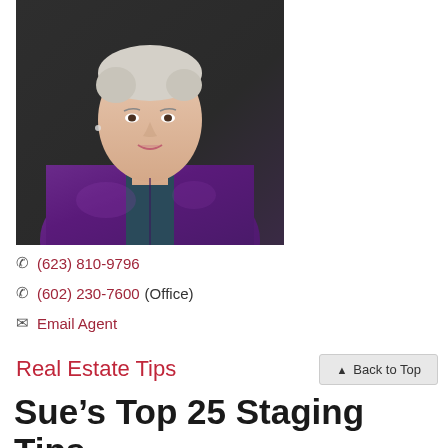[Figure (photo): Professional headshot of a woman with short blonde/gray hair wearing a purple satin jacket, smiling, against a dark background.]
(623) 810-9796
(602) 230-7600 (Office)
Email Agent
Real Estate Tips
Sue's Top 25 Staging Tips